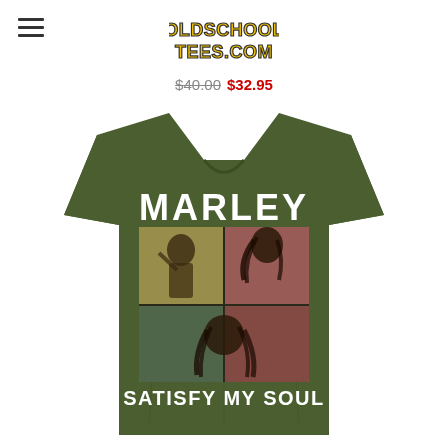[Figure (logo): OldSchoolTees.com logo in yellow bubble letters with red and green details]
$40.00 $32.95
[Figure (photo): Olive green Bob Marley 'Satisfy My Soul' t-shirt featuring MARLEY text at top and a graphic collage of Bob Marley singing/performing with dreadlocks, and SATISFY MY SOUL text at bottom]